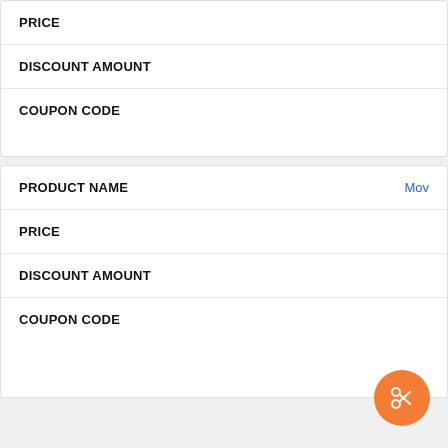| PRICE |
| DISCOUNT AMOUNT |
| COUPON CODE |
| PRODUCT NAME | Mov... |
| --- | --- |
| PRICE |  |
| DISCOUNT AMOUNT |  |
| COUPON CODE |  |
[Figure (other): Orange circular FAB button with scissors icon]